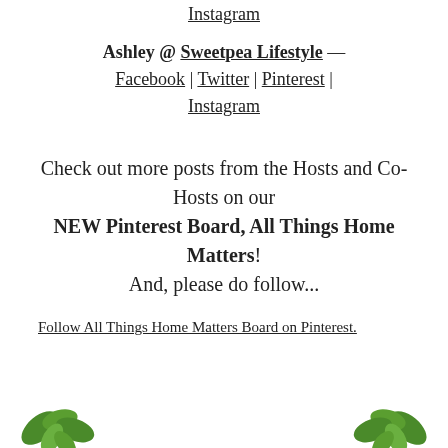Instagram
Ashley @ Sweetpea Lifestyle — Facebook | Twitter | Pinterest | Instagram
Check out more posts from the Hosts and Co-Hosts on our NEW Pinterest Board, All Things Home Matters! And, please do follow...
Follow All Things Home Matters Board on Pinterest.
[Figure (illustration): Green plant/leaf decorations at the bottom left and bottom right corners of the page]